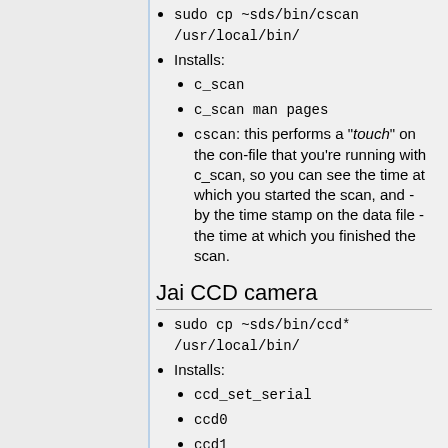sudo cp ~sds/bin/cscan /usr/local/bin/
Installs:
c_scan
c_scan man pages
cscan: this performs a "touch" on the con-file that you're running with c_scan, so you can see the time at which you started the scan, and - by the time stamp on the data file - the time at which you finished the scan.
Jai CCD camera
sudo cp ~sds/bin/ccd* /usr/local/bin/
Installs:
ccd_set_serial
ccd0
ccd1
..